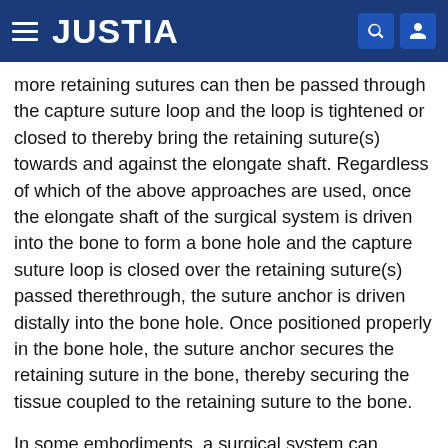JUSTIA
more retaining sutures can then be passed through the capture suture loop and the loop is tightened or closed to thereby bring the retaining suture(s) towards and against the elongate shaft. Regardless of which of the above approaches are used, once the elongate shaft of the surgical system is driven into the bone to form a bone hole and the capture suture loop is closed over the retaining suture(s) passed therethrough, the suture anchor is driven distally into the bone hole. Once positioned properly in the bone hole, the suture anchor secures the retaining suture in the bone, thereby securing the tissue coupled to the retaining suture to the bone.
In some embodiments, a surgical system can include a driver device or driver, an elongate shaft, a suture anchor having external threads formed thereon, and a